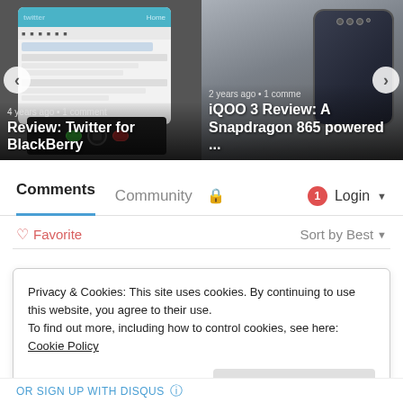[Figure (screenshot): Carousel with two article cards. Left: BlackBerry phone screenshot showing Twitter app, with overlay text '4 years ago • 1 comment' and title 'Review: Twitter for BlackBerry'. Right: iQOO 3 smartphone on stone surface, with overlay text '2 years ago • 1 comme' and title 'iQOO 3 Review: A Snapdragon 865 powered ...' Navigation arrows on left and right sides.]
Comments	Community	🔒	1 Login
♡ Favorite	Sort by Best
Privacy & Cookies: This site uses cookies. By continuing to use this website, you agree to their use.
To find out more, including how to control cookies, see here: Cookie Policy
Close and accept
OR SIGN UP WITH DISQUS